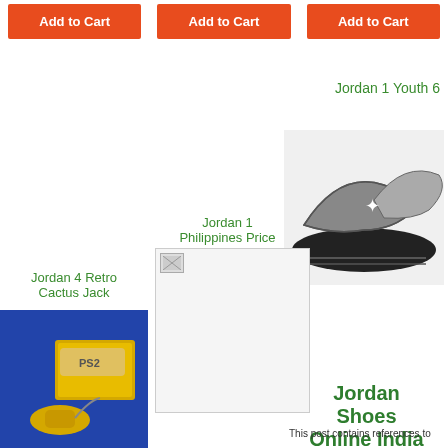Add to Cart
Add to Cart
Add to Cart
Jordan 1 Youth 6
[Figure (photo): Gray and black Jordan slides/sandals with Jumpman logo]
Jordan 1 Philippines Price
[Figure (photo): Broken/placeholder image thumbnail]
Jordan 4 Retro Cactus Jack
[Figure (photo): Yellow PS2 console with controller in box]
Jordan Shoes Online India
This post contains references to